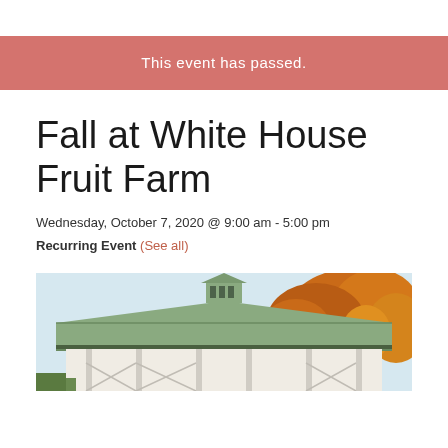This event has passed.
Fall at White House Fruit Farm
Wednesday, October 7, 2020 @ 9:00 am - 5:00 pm
Recurring Event (See all)
[Figure (photo): Exterior photo of White House Fruit Farm showing a green-roofed farm stand building with a cupola, surrounded by autumn orange and yellow trees against a light blue sky.]